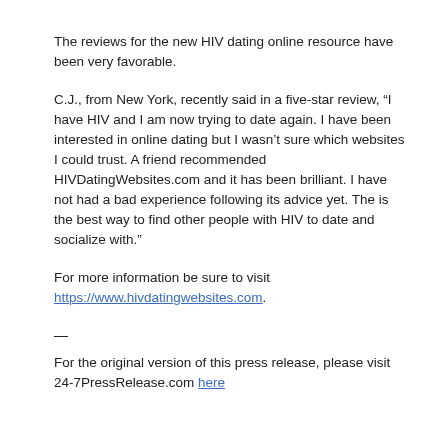The reviews for the new HIV dating online resource have been very favorable.
C.J., from New York, recently said in a five-star review, “I have HIV and I am now trying to date again. I have been interested in online dating but I wasn’t sure which websites I could trust. A friend recommended HIVDatingWebsites.com and it has been brilliant. I have not had a bad experience following its advice yet. The is the best way to find other people with HIV to date and socialize with.”
For more information be sure to visit https://www.hivdatingwebsites.com.
—
For the original version of this press release, please visit 24-7PressRelease.com here